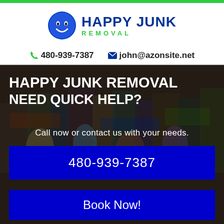[Figure (logo): Happy Junk Removal logo with blue smiley face and blue/green text]
📞 480-939-7387   ✉ john@azonsite.net
HAPPY JUNK REMOVAL
NEED QUICK HELP?
Call now or contact us with your needs.
480-939-7387
Book Now!